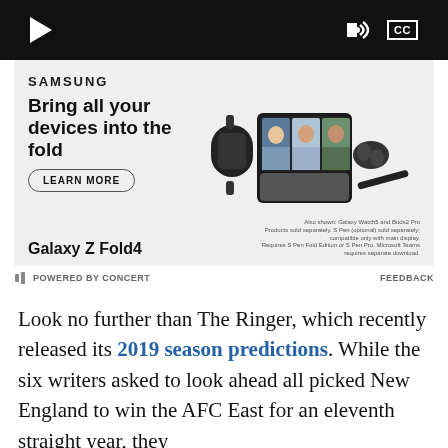[Figure (screenshot): Video player control bar with play button, volume icon, and CC button on black background]
[Figure (screenshot): Samsung advertisement: 'Bring all your devices into the fold' featuring Galaxy Z Fold4, Galaxy Watch5, Buds2 Pro. LEARN MORE button. Product image showing folded phone with video call, smartwatch, earbuds, and stylus.]
POWERED BY CONCERT    FEEDBACK
Look no further than The Ringer, which recently released its 2019 season predictions. While the six writers asked to look ahead all picked New England to win the AFC East for an eleventh straight year, they